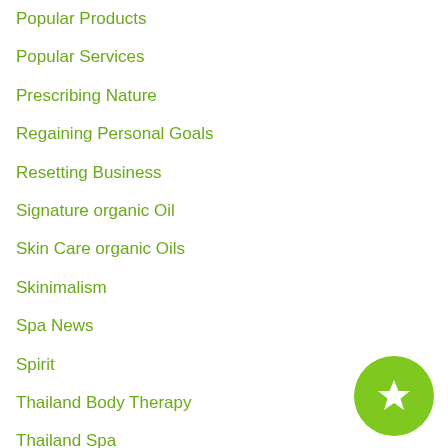Popular Products
Popular Services
Prescribing Nature
Regaining Personal Goals
Resetting Business
Signature organic Oil
Skin Care organic Oils
Skinimalism
Spa News
Spirit
Thailand Body Therapy
Thailand Spa
Trends 2021
Women's Health
[Figure (illustration): Green circular button with a white star icon]